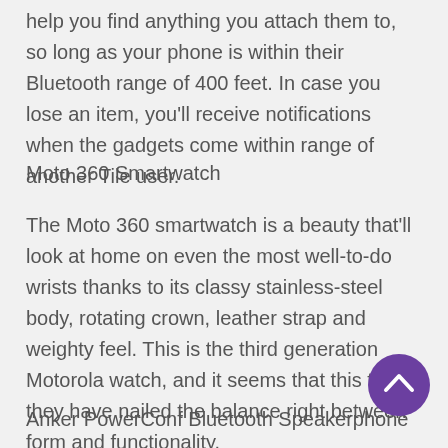help you find anything you attach them to, so long as your phone is within their Bluetooth range of 400 feet. In case you lose an item, you'll receive notifications when the gadgets come within range of another Tile user.
Moto 360 Smartwatch
The Moto 360 smartwatch is a beauty that'll look at home on even the most well-to-do wrists thanks to its classy stainless-steel body, rotating crown, leather strap and weighty feel. This is the third generation Motorola watch, and it seems that this time they have nailed the balance right between form and functionality.
Anker PowerConf Bluetooth Speakerphone